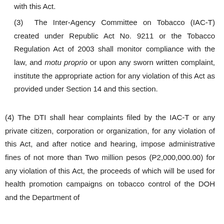with this Act.
(3) The Inter-Agency Committee on Tobacco (IAC-T) created under Republic Act No. 9211 or the Tobacco Regulation Act of 2003 shall monitor compliance with the law, and motu proprio or upon any sworn written complaint, institute the appropriate action for any violation of this Act as provided under Section 14 and this section.
(4) The DTI shall hear complaints filed by the IAC-T or any private citizen, corporation or organization, for any violation of this Act, and after notice and hearing, impose administrative fines of not more than Two million pesos (P2,000,000.00) for any violation of this Act, the proceeds of which will be used for health promotion campaigns on tobacco control of the DOH and the Department of